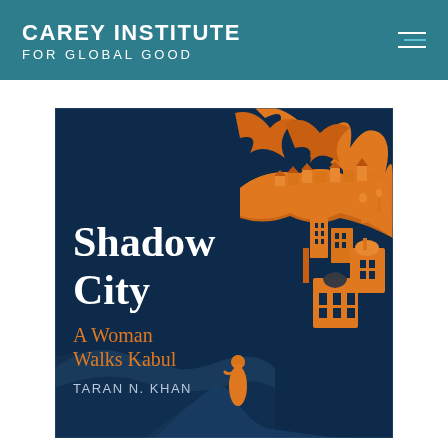CAREY INSTITUTE FOR GLOBAL GOOD
[Figure (illustration): Book cover for 'Shadow City: A Woman Walks Kabul' by Taran N. Khan. Dark navy blue background with orange illustrated cityscape of Kabul with buildings, mountains, and trees at top. A lone orange female figure walks a winding path at the bottom center. White serif text reads 'Shadow City' and below it in orange 'A Woman Walks Kabul' and 'TARAN N. KHAN'.]